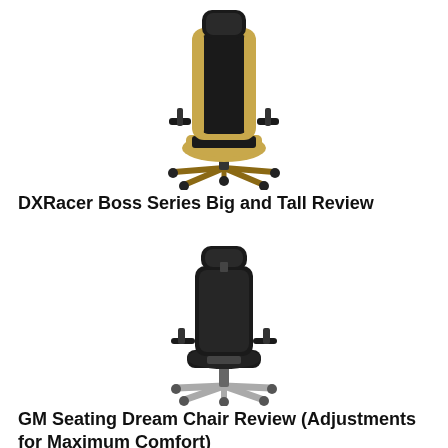[Figure (photo): DXRacer Boss Series gaming chair in tan/brown and black leather with racing-style high back, adjustable armrests, and tan five-star base with casters]
DXRacer Boss Series Big and Tall Review
[Figure (photo): GM Seating Dream Chair all-black leather ergonomic office chair with headrest, adjustable armrests, high back, and silver/chrome five-star base with casters]
GM Seating Dream Chair Review (Adjustments for Maximum Comfort)